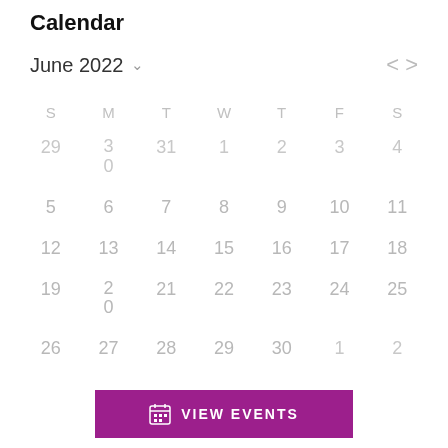Calendar
June 2022
[Figure (other): Month calendar grid for June 2022 showing days Sunday through Saturday. Dates 29 (May), 30 (May) shown in first row alongside June 1-4. Full weeks shown for June 5-11, 12-18, 19-25, and final row 26-30 with July 1-2. Navigation arrows < > on the right.]
VIEW EVENTS